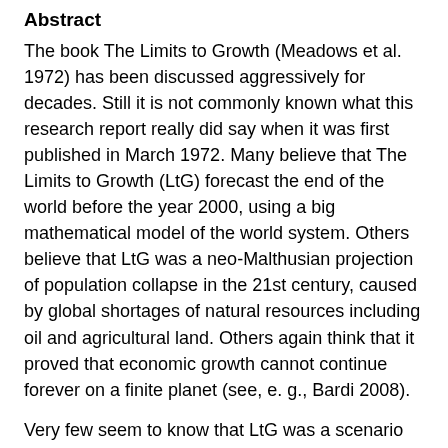Abstract
The book The Limits to Growth (Meadows et al. 1972) has been discussed aggressively for decades. Still it is not commonly known what this research report really did say when it was first published in March 1972. Many believe that The Limits to Growth (LtG) forecast the end of the world before the year 2000, using a big mathematical model of the world system. Others believe that LtG was a neo-Malthusian projection of population collapse in the 21st century, caused by global shortages of natural resources including oil and agricultural land. Others again think that it proved that economic growth cannot continue forever on a finite planet (see, e. g., Bardi 2008).
Very few seem to know that LtG was a scenario analysis of twelve possible futures from 1972 to 2100. And that the main
scientific conclusion of the study was that delays in global decision making would cause the human economy to overshoot planetary
limits before the growth in the human ecological footprint